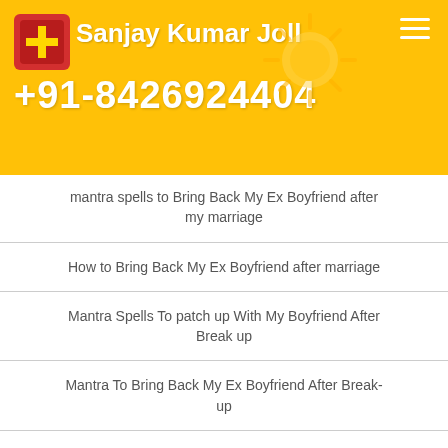Sanjay Kumar Joll +91-8426924404
mantra spells to Bring Back My Ex Boyfriend after my marriage
How to Bring Back My Ex Boyfriend after marriage
Mantra Spells To patch up With My Boyfriend After Break up
Mantra To Bring Back My Ex Boyfriend After Break-up
patch up Spells For Get Back My Ex Boyfriend Girlfriend Back